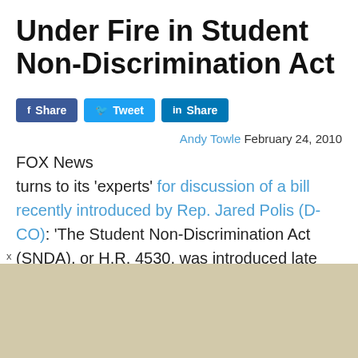Under Fire in Student Non-Discrimination Act
[Figure (other): Social sharing buttons: Facebook Share, Twitter Tweet, LinkedIn Share]
Andy Towle February 24, 2010
FOX News turns to its 'experts' for discussion of a bill recently introduced by Rep. Jared Polis (D-CO): 'The Student Non-Discrimination Act (SNDA), or H.R. 4530, was introduced late last month by Colorado Rep. Jared Polis, with 60 co-sponsors. Polis, the first openly gay
[Figure (other): Advertisement banner area with beige/tan background color]